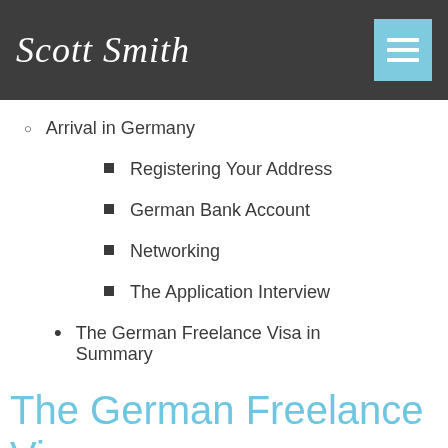Scott Smith
Arrival in Germany
Registering Your Address
German Bank Account
Networking
The Application Interview
The German Freelance Visa in Summary
The German Freelance Vi…